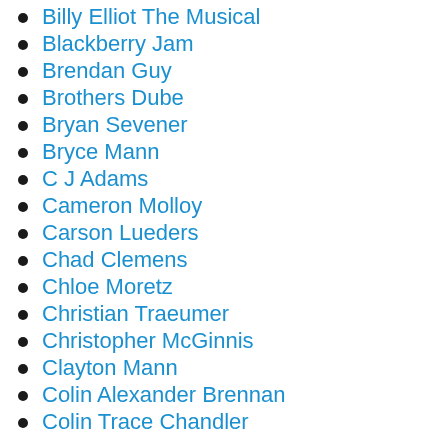Billy Elliot The Musical
Blackberry Jam
Brendan Guy
Brothers Dube
Bryan Sevener
Bryce Mann
C J Adams
Cameron Molloy
Carson Lueders
Chad Clemens
Chloe Moretz
Christian Traeumer
Christopher McGinnis
Clayton Mann
Colin Alexander Brennan
Colin Trace Chandler